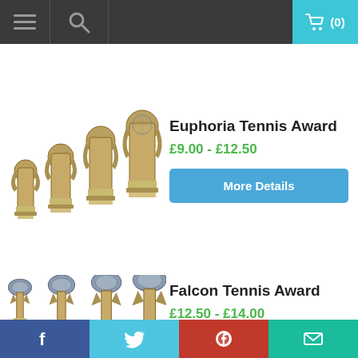Navigation bar with menu, search, and cart (0) icons
[Figure (photo): Four Euphoria Tennis Award trophies of increasing height, bronze/gold resin with tennis racket motif]
Euphoria Tennis Award
£9.00 - £12.50
More Details
[Figure (photo): Four Falcon Tennis Award trophies of increasing height, bronze/gold resin with crossed tennis rackets motif]
Falcon Tennis Award
£12.50 - £14.00
More Details
Social share bar: Facebook, Twitter, Pinterest, Email